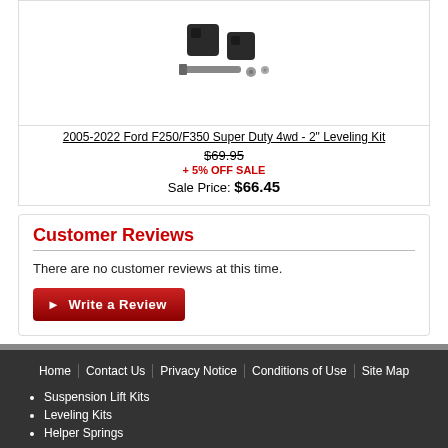[Figure (photo): Product photo of a 2" leveling kit showing rubber blocks and bolts]
2005-2022 Ford F250/F350 Super Duty 4wd - 2" Leveling Kit
$69.95 (strikethrough)
+ 5% OFF SALE
Sale Price: $66.45
Customer Reviews
There are no customer reviews at this time.
Write a Review
Home | Contact Us | Privacy Notice | Conditions of Use | Site Map
Suspension Lift Kits
Leveling Kits
Helper Springs